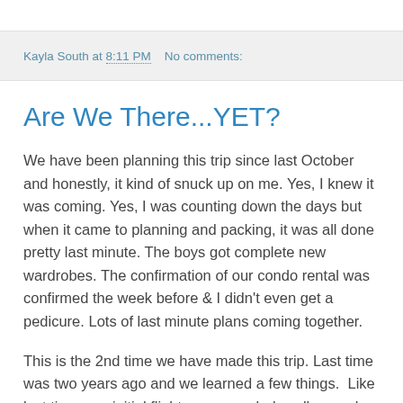Kayla South at 8:11 PM   No comments:
Are We There...YET?
We have been planning this trip since last October and honestly, it kind of snuck up on me. Yes, I knew it was coming. Yes, I was counting down the days but when it came to planning and packing, it was all done pretty last minute. The boys got complete new wardrobes. The confirmation of our condo rental was confirmed the week before & I didn't even get a pedicure. Lots of last minute plans coming together.
This is the 2nd time we have made this trip. Last time was two years ago and we learned a few things.  Like last time, our initial flight was canceled, well moved up which meant our connecting flight would arrive 4 hours too late to catch the plane to St. Martin. We actually flew out a day early to